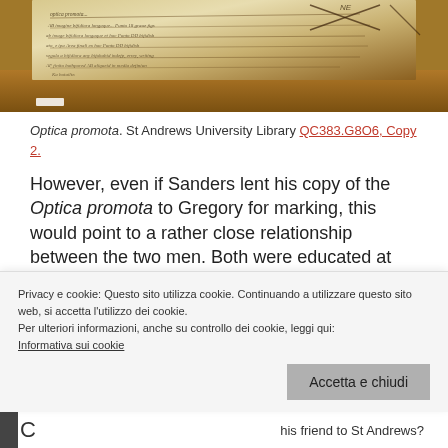[Figure (photo): Photograph of a historical manuscript page from Optica promota, showing handwritten text and geometric diagrams, held at St Andrews University Library. The book is open on a wooden surface. A small white button/slider is visible at the bottom left of the image.]
Optica promota. St Andrews University Library QC383.G8O6, Copy 2.
However, even if Sanders lent his copy of the Optica promota to Gregory for marking, this would point to a rather close relationship between the two men. Both were educated at Marischal College in Aberdeen: Gregory graduated MA in
Privacy e cookie: Questo sito utilizza cookie. Continuando a utilizzare questo sito web, si accetta l'utilizzo dei cookie.
Per ulteriori informazioni, anche su controllo dei cookie, leggi qui:
Informativa sui cookie
Accetta e chiudi
his friend to St Andrews?